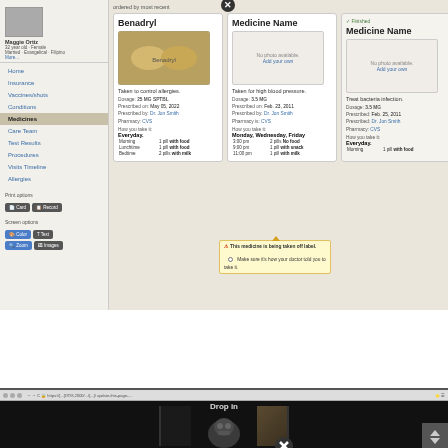[Figure (screenshot): Screenshot of CVS MyChart medicines page showing medication cards for Benadryl and Medicine Name entries with dosage details, prescription info, and a warning popup about medicine being taken off label.]
Cvs My Health Mychart App
June 4, 2022
[Figure (screenshot): Screenshot of a web browser showing a game or video titled 'Drop In' with a cartoon robot/soldier character and a circular close/X button overlay.]